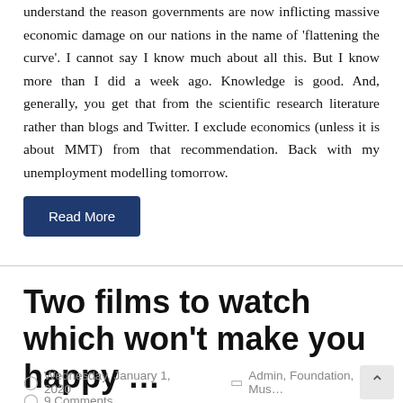understand the reason governments are now inflicting massive economic damage on our nations in the name of 'flattening the curve'. I cannot say I know much about all this. But I know more than I did a week ago. Knowledge is good. And, generally, you get that from the scientific research literature rather than blogs and Twitter. I exclude economics (unless it is about MMT) from that recommendation. Back with my unemployment modelling tomorrow.
Read More
Two films to watch which won't make you happy …
Wednesday, January 1, 2020   Admin, Foundation, Mus…
9 Comments